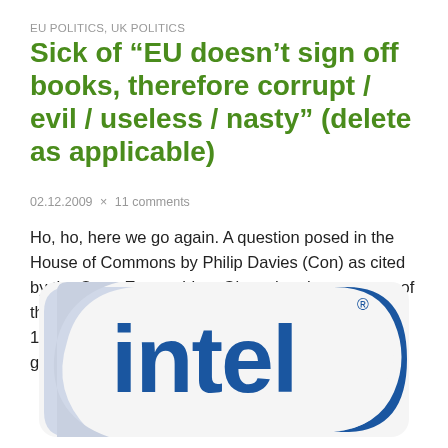EU POLITICS, UK POLITICS
Sick of “EU doesn’t sign off books, therefore corrupt / evil / useless / nasty” (delete as applicable)
02.12.2009 × 11 comments
Ho, ho, here we go again. A question posed in the House of Commons by Philip Davies (Con) as cited by the Open Europe blog: Given that the accounts of the EU have not been signed off by the auditors for 15 years running, why do the Government keep giving [...]
[Figure (logo): Intel logo in blue and white with registered trademark symbol]